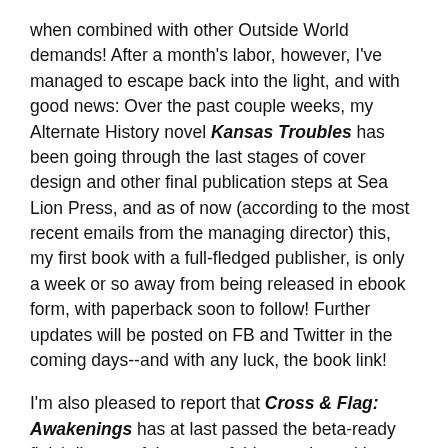when combined with other Outside World demands! After a month's labor, however, I've managed to escape back into the light, and with good news: Over the past couple weeks, my Alternate History novel Kansas Troubles has been going through the last stages of cover design and other final publication steps at Sea Lion Press, and as of now (according to the most recent emails from the managing director) this, my first book with a full-fledged publisher, is only a week or so away from being released in ebook form, with paperback soon to follow! Further updates will be posted on FB and Twitter in the coming days--and with any luck, the book link!
I'm also pleased to report that Cross & Flag: Awakenings has at last passed the beta-ready finish line as of the start of this month, and is currently being shared with readers. Publication for this one is still a ways off (current guess is sometime next summer), but I'll be tinkering with it and the rest of the 4-book series all through that time--and may have more than one ready for release, with SLP or another